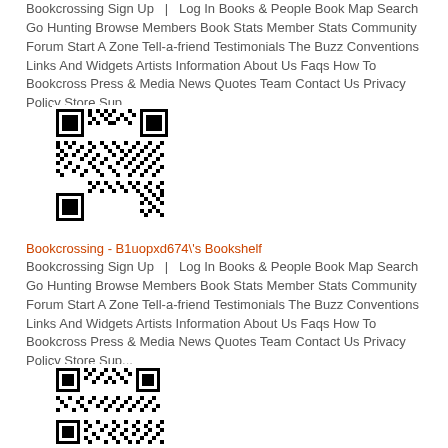Bookcrossing Sign Up  |  Log In Books & People Book Map Search Go Hunting Browse Members Book Stats Member Stats Community Forum Start A Zone Tell-a-friend Testimonials The Buzz Conventions Links And Widgets Artists Information About Us Faqs How To Bookcross Press & Media News Quotes Team Contact Us Privacy Policy Store Sup...
[Figure (other): QR code image (first)]
Bookcrossing - B1uopxd674\'s Bookshelf
Bookcrossing Sign Up  |  Log In Books & People Book Map Search Go Hunting Browse Members Book Stats Member Stats Community Forum Start A Zone Tell-a-friend Testimonials The Buzz Conventions Links And Widgets Artists Information About Us Faqs How To Bookcross Press & Media News Quotes Team Contact Us Privacy Policy Store Sup...
[Figure (other): QR code image (second)]